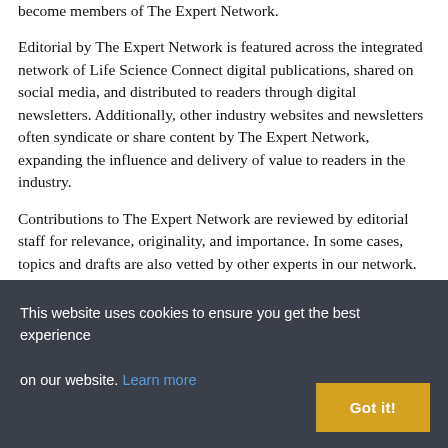become members of The Expert Network.
Editorial by The Expert Network is featured across the integrated network of Life Science Connect digital publications, shared on social media, and distributed to readers through digital newsletters. Additionally, other industry websites and newsletters often syndicate or share content by The Expert Network, expanding the influence and delivery of value to readers in the industry.
Contributions to The Expert Network are reviewed by editorial staff for relevance, originality, and importance. In some cases, topics and drafts are also vetted by other experts in our network.
This website uses cookies to ensure you get the best experience on our website. Learn more
Got it!